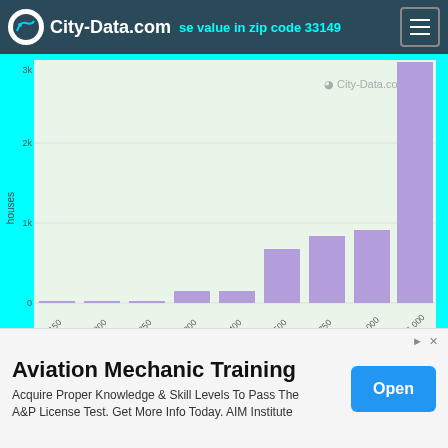City-Data.com — house value in zip code 33149
[Figure (histogram): House value in zip code 33149]
Less than $10,000  7
$40,000 to $49,999  5
00 to $124,999  22
Aviation Mechanic Training
Acquire Proper Knowledge & Skill Levels To Pass The A&P License Test. Get More Info Today. AIM Institute